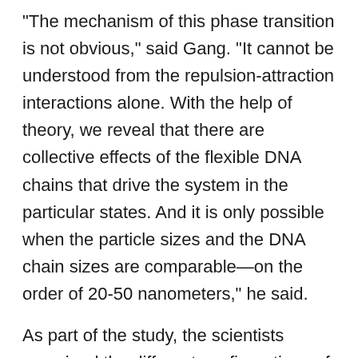"The mechanism of this phase transition is not obvious," said Gang. "It cannot be understood from the repulsion-attraction interactions alone. With the help of theory, we reveal that there are collective effects of the flexible DNA chains that drive the system in the particular states. And it is only possible when the particle sizes and the DNA chain sizes are comparable—on the order of 20-50 nanometers," he said.
As part of the study, the scientists examined the different configurations of the nanoparticles on top of the liquid layer using x-ray scattering at Brookhaven's National Synchrotron Light Source (NSLS). They also transferred the monolayer